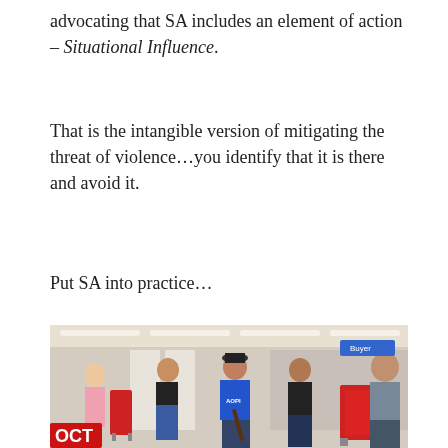advocating that SA includes an element of action – Situational Influence.
That is the intangible version of mitigating the threat of violence…you identify that it is there and avoid it.
Put SA into practice…
[Figure (photo): People shopping in a retail store (Target), one person carrying a rifle slung over their shoulder. An OCT (Open Carry Texas) logo watermark is visible in the lower left corner.]